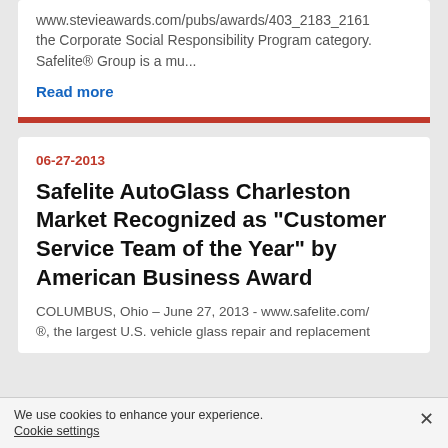www.stevieawards.com/pubs/awards/403_2183_2161 the Corporate Social Responsibility Program category. Safelite® Group is a mu...
Read more
06-27-2013
Safelite AutoGlass Charleston Market Recognized as "Customer Service Team of the Year" by American Business Award
COLUMBUS, Ohio – June 27, 2013 - www.safelite.com/ ®, the largest U.S. vehicle glass repair and replacement
We use cookies to enhance your experience.
Cookie settings